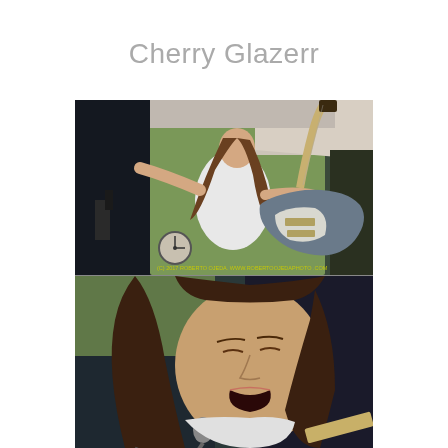Cherry Glazerr
[Figure (photo): Two concert photos of Cherry Glazerr. Top photo: female guitarist on outdoor stage, arms spread wide, wearing white shirt, playing a dark Stratocaster guitar, with green trees and tent in background. Bottom photo: close-up of female vocalist singing into microphone with mouth open, dark hair, white shirt, dark stage background.]